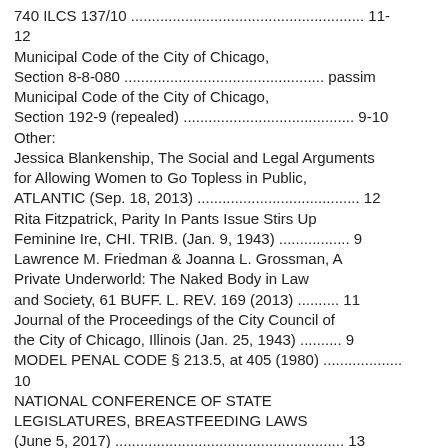740 ILCS 137/10 ........................................................ 11-12
Municipal Code of the City of Chicago, Section 8-8-080 ................................................ passim
Municipal Code of the City of Chicago, Section 192-9 (repealed) ........................................ 9-10
Other:
Jessica Blankenship, The Social and Legal Arguments for Allowing Women to Go Topless in Public, ATLANTIC (Sep. 18, 2013) ........................................ 12
Rita Fitzpatrick, Parity In Pants Issue Stirs Up Feminine Ire, CHI. TRIB. (Jan. 9, 1943) .................. 9
Lawrence M. Friedman & Joanna L. Grossman, A Private Underworld: The Naked Body in Law and Society, 61 BUFF. L. REV. 169 (2013) .............. 11
Journal of the Proceedings of the City Council of the City of Chicago, Illinois (Jan. 25, 1943) ............. 9
MODEL PENAL CODE § 213.5, at 405 (1980) ................... 10
NATIONAL CONFERENCE OF STATE LEGISLATURES, BREASTFEEDING LAWS (June 5, 2017) ........................................................ 13
Now Men Bathe Without Tops on Many Public Beaches, LIFE at 36 (July 18, 1938) ............................ 12